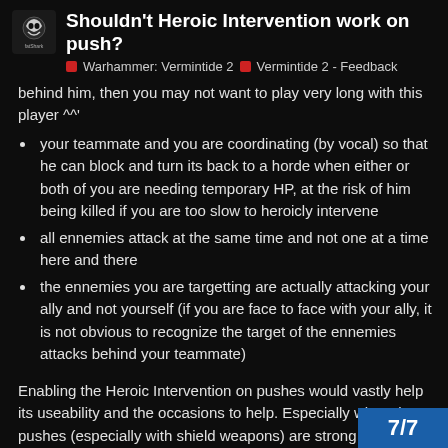Shouldn't Heroic Intervention work on push? | Warhammer: Vermintide 2 | Vermintide 2 - Feedback
behind him, then you may not want to play very long with this player ^^'
your teammate and you are coordinating (by vocal) so that he can block and turn its back to a horde when either or both of you are needing temporary HP, at the risk of him being killed if you are too slow to heroicly intervene
all ennemies attack at the same time and not one at a time here and there
the ennemies you are targetting are actually attacking your ally and not yourself (if you are face to face with your ally, it is not obvious to recognize the target of the ennemies attacks behind your teammate)
Enabling the Heroic Intervention on pushes would vastly help its useability and the occasions to help. Especially when the pushes (especially with shield weapons) are strong and actually more able to interrupt attacks wh not be able to do so.
7/7